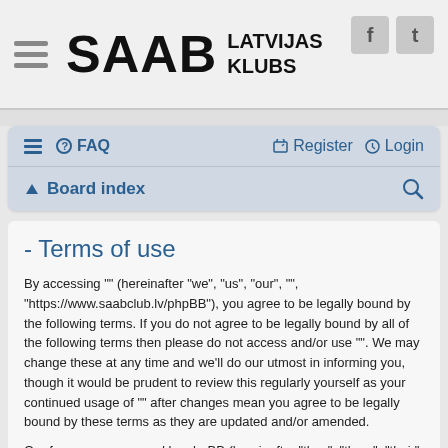SAAB LATVIJAS KLUBS
[Figure (screenshot): Navigation bar with hamburger menu, FAQ, Register and Login links, Board index link and search icon]
- Terms of use
By accessing “” (hereinafter “we”, “us”, “our”, “”, “https://www.saabclub.lv/phpBB”), you agree to be legally bound by the following terms. If you do not agree to be legally bound by all of the following terms then please do not access and/or use “”. We may change these at any time and we’ll do our utmost in informing you, though it would be prudent to review this regularly yourself as your continued usage of “” after changes mean you agree to be legally bound by these terms as they are updated and/or amended.
Our forums are powered by phpBB (hereinafter “they”, “them”, “their”, “phpBB software”, “www.phpbb.com”, “phpBB Limited”, “phpBB Teams”)